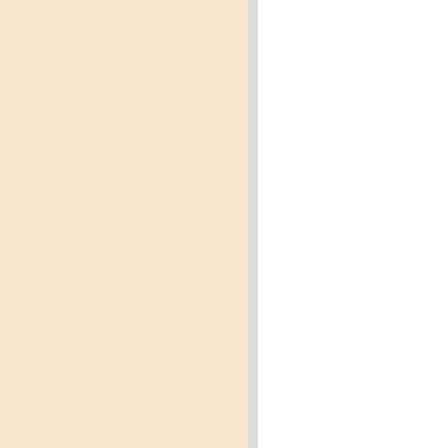[Figure (scatter-plot): Dot plot showing miR-27b expression relative to U6 in LR vs PR groups. LR group shows higher expression (median ~3) than PR group (median ~1). ** indicates p<0.01.]
[Figure (line-chart): Kaplan-Meier survival curve showing disease specific survival for miR-628 high (black, Median=42.4 m) vs miR-628 low (red, Median=20.6 m). P-value = 0.017.]